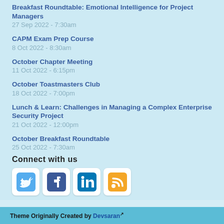Breakfast Roundtable: Emotional Intelligence for Project Managers
27 Sep 2022 - 7:30am
CAPM Exam Prep Course
8 Oct 2022 - 8:30am
October Chapter Meeting
11 Oct 2022 - 6:15pm
October Toastmasters Club
18 Oct 2022 - 7:00pm
Lunch & Learn: Challenges in Managing a Complex Enterprise Security Project
21 Oct 2022 - 12:00pm
October Breakfast Roundtable
25 Oct 2022 - 7:30am
Connect with us
[Figure (illustration): Four social media icon buttons: Twitter (blue bird), Facebook (dark blue f), LinkedIn (blue in), RSS feed (orange)]
Theme Originally Created by Devsaran